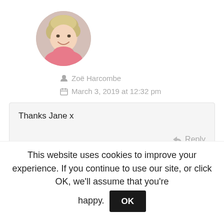[Figure (photo): Circular profile photo of a smiling blonde woman wearing a pink top]
Zoë Harcombe
March 3, 2019 at 12:32 pm
Thanks Jane x
Reply
[Figure (illustration): Generic gray user avatar icon (circle with person silhouette)]
David
This website uses cookies to improve your experience. If you continue to use our site, or click OK, we'll assume that you're happy. OK